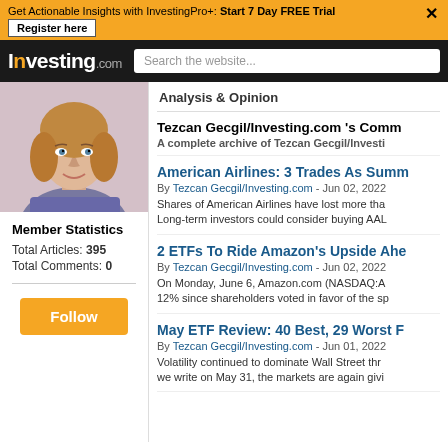Get Actionable Insights with InvestingPro+: Start 7 Day FREE Trial  Register here
Investing.com  Search the website...
[Figure (photo): Profile photo of a woman with light brown hair and blue eyes, smiling, wearing a blue/purple top]
Member Statistics
Total Articles: 395
Total Comments: 0
Follow
Analysis & Opinion
Tezcan Gecgil/Investing.com 's Comm
A complete archive of Tezcan Gecgil/Investi
American Airlines: 3 Trades As Summ
By Tezcan Gecgil/Investing.com - Jun 02, 2022
Shares of American Airlines have lost more tha
Long-term investors could consider buying AAL
2 ETFs To Ride Amazon's Upside Ahe
By Tezcan Gecgil/Investing.com - Jun 02, 2022
On Monday, June 6, Amazon.com (NASDAQ:A
12% since shareholders voted in favor of the sp
May ETF Review: 40 Best, 29 Worst F
By Tezcan Gecgil/Investing.com - Jun 01, 2022
Volatility continued to dominate Wall Street thr
we write on May 31, the markets are again givi